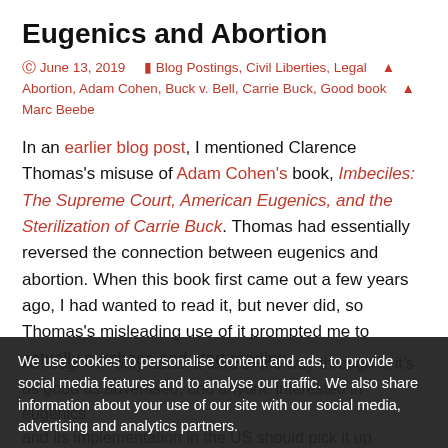Eugenics and Abortion
June 13, 2019   Blog Postings, Civil Liberties, Legal   Abortion, Adam Cohen, Buck v. Bell, Carrie Buck, Good book   Marc Beebe
In an earlier blog post, I mentioned Clarence Thomas's misuse of Adam Cohen's book, Imbeciles: The Supreme Court, American Eugenics, and the Sterilization of Carrie Buck. Thomas had essentially reversed the connection between eugenics and abortion. When this book first came out a few years ago, I had wanted to read it, but never did, so Thomas's misleading use of it prompted me to actually purchase and start reading.
Although I'm only about a third of the way through it, it's as good as advertised, and anyone interested in eugenics and its implementation in the US should pick it up. Especially striking to me is the kind of people who were
We use cookies to personalise content and ads, to provide social media features and to analyse our traffic. We also share information about your use of our site with our social media, advertising and analytics partners.